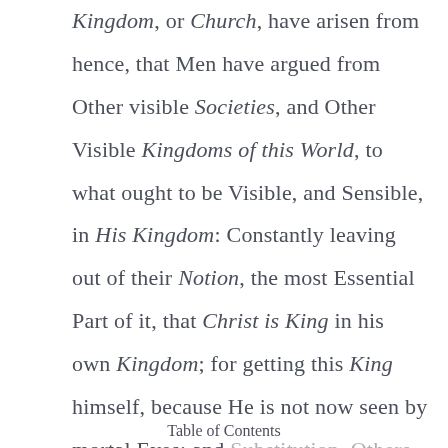Kingdom, or Church, have arisen from hence, that Men have argued from Other visible Societies, and Other Visible Kingdoms of this World, to what ought to be Visible, and Sensible, in His Kingdom: Constantly leaving out of their Notion, the most Essential Part of it, that Christ is King in his own Kingdom; for getting this King himself, because He is not now seen by mortal Eyes; and [faded text continues]
Table of Contents